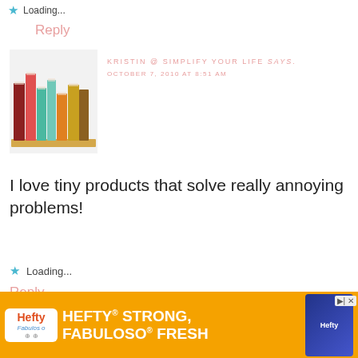Loading...
Reply
[Figure (illustration): Colorful illustrated books on a shelf (avatar for Kristin @ Simplify Your Life)]
KRISTIN @ SIMPLIFY YOUR LIFE says. OCTOBER 7, 2010 AT 8:51 AM
I love tiny products that solve really annoying problems!
Loading...
Reply
[Figure (illustration): Colorful illustrated books on a shelf (avatar for Kristin @ Simplify Your Life, second comment)]
KRISTIN @ SIMPLIFY YOUR LIFE says
[Figure (other): Hefty advertisement banner: HEFTY STRONG, FABULOSO FRESH with Hefty and Fabuloso logos]